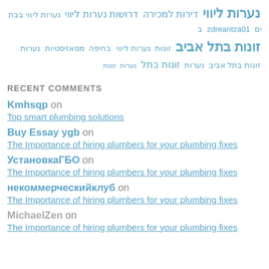zdreantza01 נערות ליווי בבת ים דרושות נערות ליווי נערות ליווי דירות למכירה ...
RECENT COMMENTS
Kmhsqp on Top smart plumbing solutions
Buy Essay ygb on The Importance of hiring plumbers for your plumbing fixes
УстановкаГБО on The Importance of hiring plumbers for your plumbing fixes
некоммерческийклуб on The Importance of hiring plumbers for your plumbing fixes
MichaelZen on The Importance of hiring plumbers for your plumbing fixes